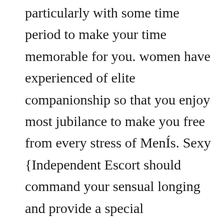particularly with some time period to make your time memorable for you. women have experienced of elite companionship so that you enjoy most jubilance to make you free from every stress of MenÍs. Sexy {Independent Escort should command your sensual longing and provide a special gratification to all persons. These girls serve a special postions to make you mad in sensuous sensation and you will mad in love of them. Every Independent Call Girls are full insured that you will feel a clean and safe when you touch and feel them. The Raghubir Nagar Escorts very handful and mature to make you